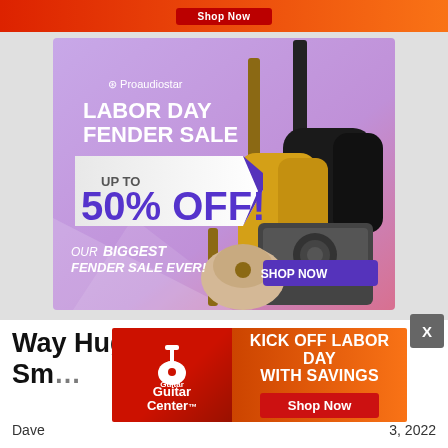[Figure (advertisement): Top red/orange gradient banner strip with a button partially visible]
[Figure (advertisement): Proaudiostar Labor Day Fender Sale ad on purple/pink background showing guitars and amp. Text: Proaudiostar LABOR DAY FENDER SALE UP TO 50% OFF! OUR BIGGEST FENDER SALE EVER! SHOP NOW]
Way Huge Red Llama MkIII Sm...
Dave  ...3, 2022
[Figure (advertisement): Guitar Center 'KICK OFF LABOR DAY WITH SAVINGS' ad with red logo on left, white text, and Shop Now red button]